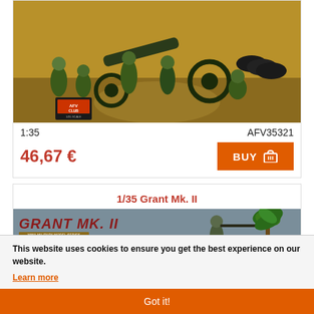[Figure (photo): Military scale model box art showing soldiers with artillery cannon, AFV Club 1:35 scale]
1:35
AFV35321
46,67 €
BUY
1/35 Grant Mk. II
[Figure (photo): Grant Mk. II tank model kit box art banner with text GRANT MK. II and WWII military model manufacturer series, soldier with rifle and palm tree in background]
This website uses cookies to ensure you get the best experience on our website.
Learn more
Got it!